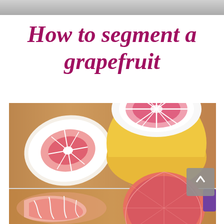[Figure (photo): Partial view of a blurred background photo at top of page]
How to segment a grapefruit
[Figure (photo): Two-panel photo collage showing grapefruit being segmented on a wooden cutting board. Top panel: two grapefruit halves showing pink flesh with white pith, one upright and one lying flat, plus a bottom-left partial piece. Bottom panel: left side shows separated grapefruit segments with membrane, right side shows a peeled whole grapefruit segment ball. A purple knife handle is visible. A grey scroll-up button with chevron appears on the right side.]